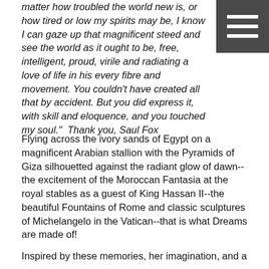matter how troubled the world new is, or how tired or low my spirits may be, I know I can gaze up that magnificent steed and see the world as it ought to be, free, intelligent, proud, virile and radiating a love of life in his every fibre and movement. You couldn't have created all that by accident. But you did express it, with skill and eloquence, and you touched my soul."  Thank you, Saul Fox
Flying across the ivory sands of Egypt on a magnificent Arabian stallion with the Pyramids of Giza silhouetted against the radiant glow of dawn--the excitement of the Moroccan Fantasia at the royal stables as a guest of King Hassan II--the beautiful Fountains of Rome and classic sculptures of Michelangelo in the Vatican--that is what Dreams are made of!
Inspired by these memories, her imagination, and a